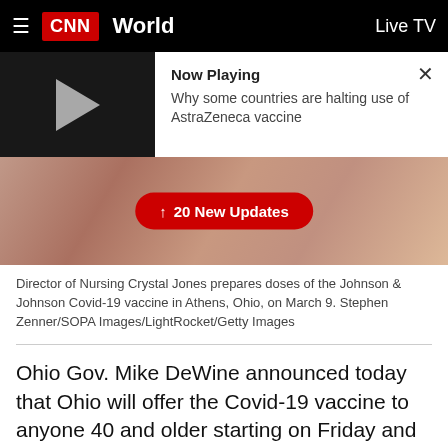CNN  World  Live TV
[Figure (screenshot): CNN video player showing 'Now Playing' bar with play button thumbnail on black background and text 'Now Playing - Why some countries are halting use of AstraZeneca vaccine' with X close button]
[Figure (photo): Close-up photo of hands preparing doses of Johnson & Johnson Covid-19 vaccine with a red '↑ 20 New Updates' button overlay]
Director of Nursing Crystal Jones prepares doses of the Johnson & Johnson Covid-19 vaccine in Athens, Ohio, on March 9. Stephen Zenner/SOPA Images/LightRocket/Getty Images
Ohio Gov. Mike DeWine announced today that Ohio will offer the Covid-19 vaccine to anyone 40 and older starting on Friday and promised to expand to anyone over the age of 16 on March 29.